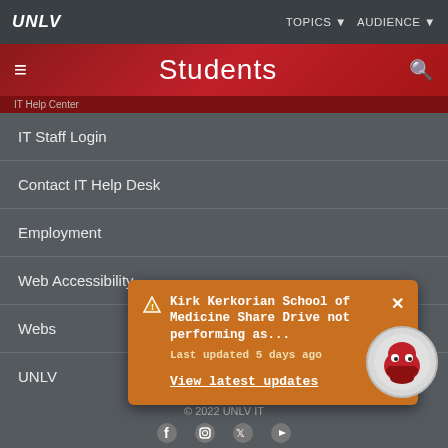UNLV | TOPICS ▼ AUDIENCE ▼
Students
IT Staff Login
Contact IT Help Desk
Employment
Web Accessibility
Website Feedback
UNLV...
[Figure (screenshot): Orange notification popup: Kirk Kerkorian School of Medicine Share Drive not performing as... Last updated 5 days ago. View latest updates link. With close X button and warning diamond icon.]
© 2022 UNLV IT
[Figure (illustration): Chat bot avatar: round red ninja/robot face on grey circle]